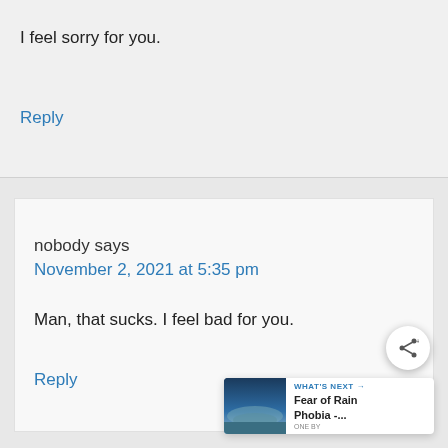I feel sorry for you.
Reply
nobody says
November 2, 2021 at 5:35 pm
Man, that sucks. I feel bad for you.
Reply
[Figure (infographic): What's Next widget showing 'Fear of Rain Phobia -...' with a misty landscape thumbnail image]